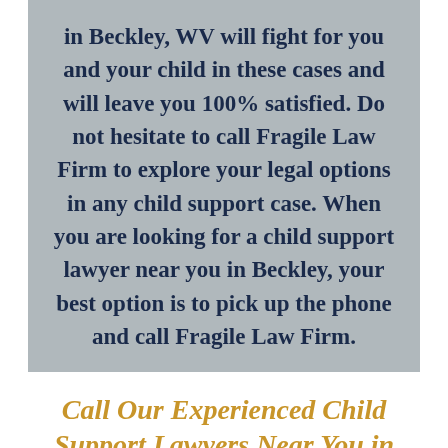in Beckley, WV will fight for you and your child in these cases and will leave you 100% satisfied. Do not hesitate to call Fragile Law Firm to explore your legal options in any child support case. When you are looking for a child support lawyer near you in Beckley, your best option is to pick up the phone and call Fragile Law Firm.
Call Our Experienced Child Support Lawyers Near You in